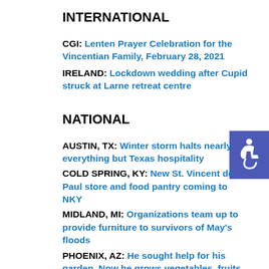INTERNATIONAL
CGI: Lenten Prayer Celebration for the Vincentian Family, February 28, 2021
IRELAND: Lockdown wedding after Cupid struck at Larne retreat centre
NATIONAL
AUSTIN, TX: Winter storm halts nearly everything but Texas hospitality
COLD SPRING, KY: New St. Vincent de Paul store and food pantry coming to NKY
MIDLAND, MI: Organizations team up to provide furniture to survivors of May's floods
PHOENIX, AZ: He sought help for his garden. Now he grows vegetables, fruits and fellowship
ST. LOUIS, MO: Aquinas Institute of Theology and the Vincentians of the Western Province enter Cooperative Agreement